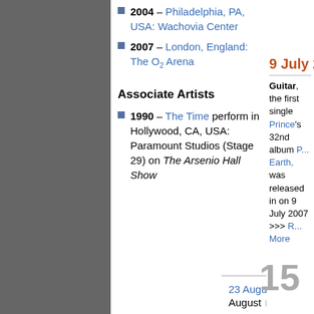2004 – Philadelphia, PA, USA: Wachovia Center
2007 – London, England: The O2 Arena
Associate Artists
1990 – The Time perform in Hollywood, CA, USA: Paramount Studios (Stage 29) on The Arsenio Hall Show
23 August ◄ 24 August ► 25
9 July 2022
Guitar, the first single Prince's 32nd album Planet Earth, was released in on 9 July 2007 >>> Read More
[Figure (photo): Prince guitar album cover photo, artist performing in purple outfit with guitar, smoke effects]
15 YEARS